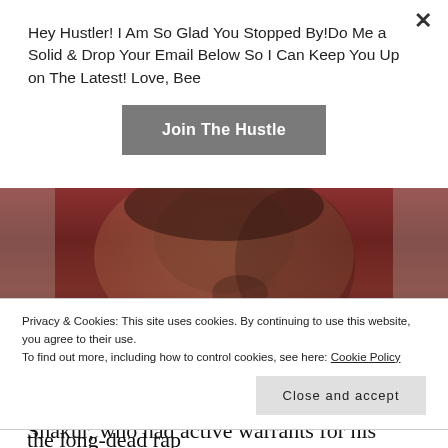Hey Hustler! I Am So Glad You Stopped By!Do Me a Solid & Drop Your Email Below So I Can Keep You Up on The Latest! Love, Bee
Join The Hustle
[Figure (photo): Close-up photo of a man's face and neck, showing tattoos on his neck, wearing a dark red/maroon shirt. The image is partially visible.]
A man named Tupac A. Shakur — who, despite the name, is not to be confused with the long-dead rap legend — was arrested this weekend after allegedly
Privacy & Cookies: This site uses cookies. By continuing to use this website, you agree to their use.
To find out more, including how to control cookies, see here: Cookie Policy
Close and accept
Shakur, who had active warrants for his arrest from